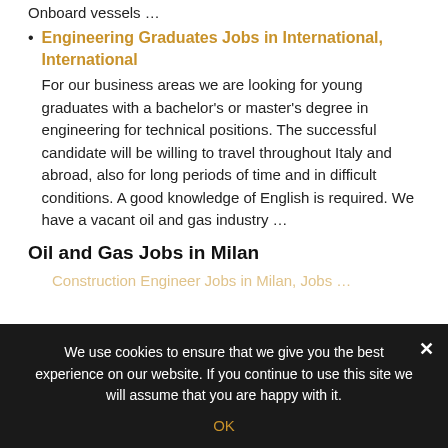Onboard vessels …
Engineering Graduates Jobs in International, International
For our business areas we are looking for young graduates with a bachelor's or master's degree in engineering for technical positions. The successful candidate will be willing to travel throughout Italy and abroad, also for long periods of time and in difficult conditions. A good knowledge of English is required. We have a vacant oil and gas industry …
Oil and Gas Jobs in Milan
Construction Engineer Jobs in Milan, Jobs …
We use cookies to ensure that we give you the best experience on our website. If you continue to use this site we will assume that you are happy with it.
OK